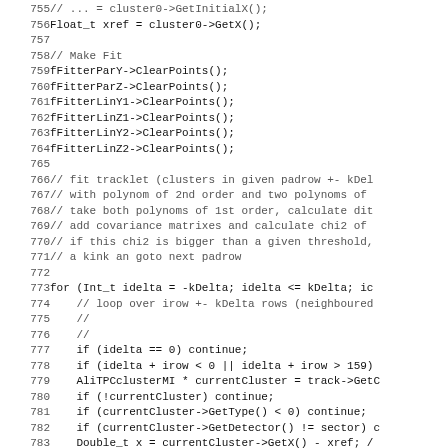[Figure (screenshot): Source code listing in monospace font, lines 755-787, showing C++ code for cluster fitting and tracklet processing in a particle physics detector context.]